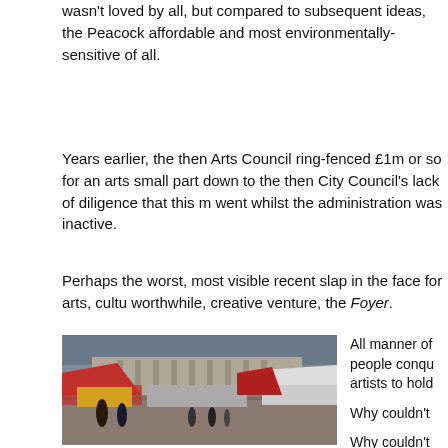wasn't loved by all, but compared to subsequent ideas, the Peacock affordable and most environmentally-sensitive of all.
Years earlier, the then Arts Council ring-fenced £1m or so for an arts small part down to the then City Council's lack of diligence that this m went whilst the administration was inactive.
Perhaps the worst, most visible recent slap in the face for arts, cultu worthwhile, creative venture, the Foyer.
[Figure (photo): Outdoor market scene with colourful tents/stalls in front of a large neoclassical building under a cloudy sky, with people walking through the market.]
All manner of people conqu artists to hold

Why couldn't

Why couldn't

Why has noth work it did?